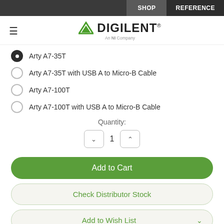SHOP | REFERENCE
[Figure (logo): Digilent logo with green triangle and text 'DIGILENT An NI Company']
Arty A7-35T (selected)
Arty A7-35T with USB A to Micro-B Cable
Arty A7-100T
Arty A7-100T with USB A to Micro-B Cable
Quantity: 1
Add to Cart
Check Distributor Stock
Add to Wish List